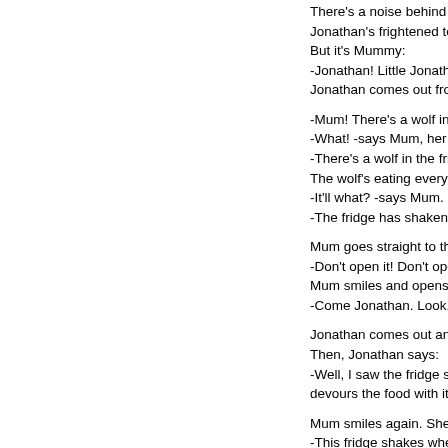There's a noise behind the door. Jonathan's frightened to death. But it's Mummy: -Jonathan! Little Jonathan! Wher... Jonathan comes out from under...
-Mum! There's a wolf in the fridge -What! -says Mum, her eyes wid... -There's a wolf in the fridge! The... The wolf's eating everything, and... -It'll what? -says Mum. -The fridge has shaken scared, a...
Mum goes straight to the fridge. -Don't open it! Don't open it! -sho... Mum smiles and opens the fridge... -Come Jonathan. Look, there's n...
Jonathan comes out and approa... Then, Jonathan says: -Well, I saw the fridge shaking. A... devours the food with its sharp te...
Mum smiles again. She says: -This fridge shakes when the mo...
Mum turns the button, and the fri... stops. And when it stops it shake... Then Jonathan goes and turns th... He does it five times. And Jonath...
Jonathan's heart's also at ease t... gives Mum a big kiss, scratches... -Mum: How did you manage to fi...